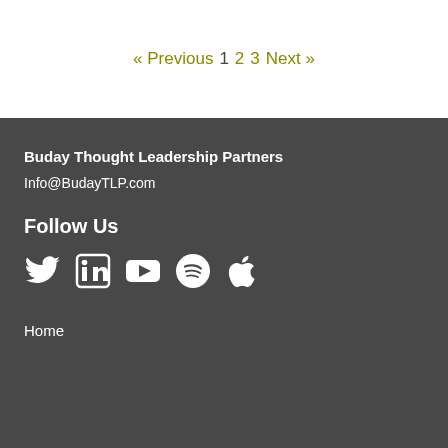« Previous  1  2  3  Next »
Buday Thought Leadership Partners
Info@BudayTLP.com
Follow Us
[Figure (illustration): Social media icons: Twitter, LinkedIn, YouTube, Spotify, Apple]
Home